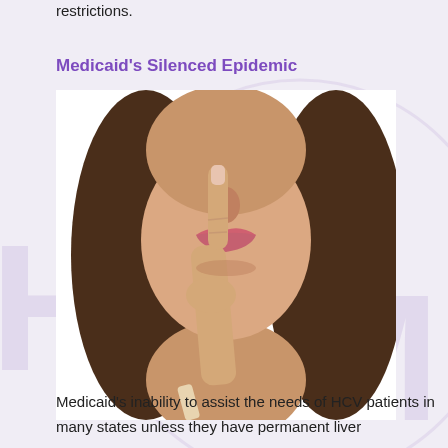restrictions.
Medicaid's Silenced Epidemic
[Figure (photo): Close-up photo of a young woman with long dark hair holding her index finger to her lips in a 'shushing' gesture, suggesting silence or secrecy. White background.]
Medicaid's inability to assist the needs of HCV patients in many states unless they have permanent liver